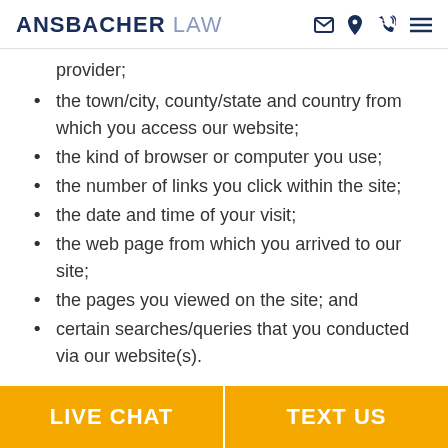ANSBACHER LAW
provider;
the town/city, county/state and country from which you access our website;
the kind of browser or computer you use;
the number of links you click within the site;
the date and time of your visit;
the web page from which you arrived to our site;
the pages you viewed on the site; and
certain searches/queries that you conducted via our website(s).
LIVE CHAT | TEXT US